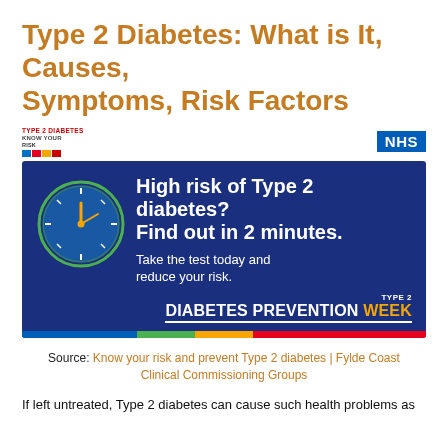Type 2 Diabetes: What is It, Causes, Symptoms, Risk Factors
[Figure (infographic): NHS and Type 2 Diabetes Know Your Risk logos above a dark blue banner advertisement reading 'High risk of Type 2 diabetes? Find out in 2 minutes. Take the test today and reduce your risk.' with a clock graphic and 'TYPE 2 DIABETES PREVENTION WEEK' text, and a multicolored strip at the bottom]
Source: Know your risk and prevent Type 2 diabetes | Fylde Coast Clinical Commissioning Groups
If left untreated, Type 2 diabetes can cause such health problems as